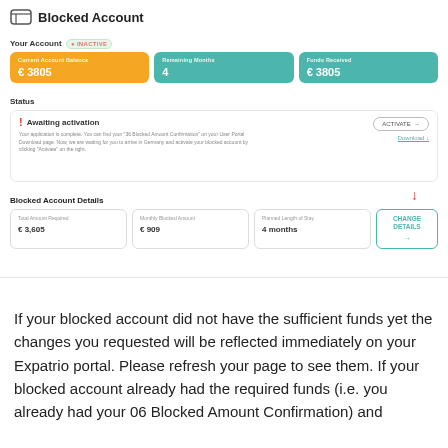Blocked Account
Your Account
INACTIVE
| Current Account Balance | Remaining Months | Funds Received |
| --- | --- | --- |
| € 3805 | 4 | € 3805 |
Status
Awaiting activation
Your application is complete. You can find your "36 Blocked Amount Confirmation" on your User Portal Download page. Now, we are waiting for you to arrive in Germany and activate your blocked account by clicking "Activate" on the right.
ACTIVATE →
Download ↓
Blocked Account Details
| Total Amount Required | Monthly Blocked Amount | Planned Length of Stay |  |
| --- | --- | --- | --- |
| € 3,605 | € 909 | 4 months | CHANGE DETAILS → |
If your blocked account did not have the sufficient funds yet the changes you requested will be reflected immediately on your Expatrio portal. Please refresh your page to see them. If your blocked account already had the required funds (i.e. you already had your 06 Blocked Amount Confirmation) and